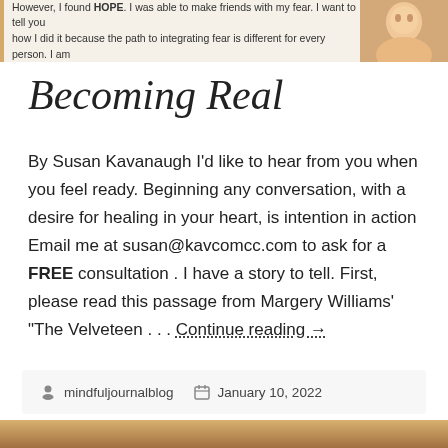However, I found HOPE. I was able to make friends with my fear. I want to tell you how I did it because the path to integrating fear is different for every person. I am
Becoming Real
By Susan Kavanaugh I'd like to hear from you when you feel ready. Beginning any conversation, with a desire for healing in your heart, is intention in action Email me at susan@kavcomcc.com to ask for a FREE consultation . I have a story to tell. First, please read this passage from Margery Williams' "The Velveteen . . . Continue reading →
mindfuljournalblog   January 10, 2022